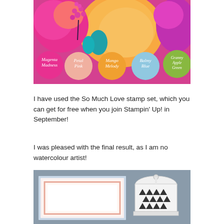[Figure (photo): Colorful floral arrangement photo with five color palette circles overlaid at the bottom: Magenta Madness (pink), Petal Pink (peach), Mango Melody (orange), Balmy Blue (light blue), Granny Apple Green (green)]
I have used the So Much Love stamp set, which you can get for free when you join Stampin' Up! in September!
I was pleased with the final result, as I am no watercolour artist!
[Figure (photo): A greeting card with peach/pink border on a grey background, with a white decorative lantern/box to the right]